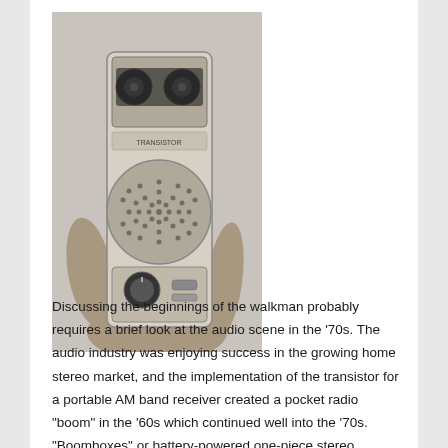[Figure (photo): Black and white photograph of a hand holding a vintage portable transistor radio/cassette device from the 1970s era.]
Discussing the beginnings of the walkman probably requires a brief look at the audio scene in the ‘70s. The audio industry was enjoying success in the growing home stereo market, and the implementation of the transistor for a portable AM band receiver created a pocket radio “boom” in the ’60s which continued well into the ’70s. “Boomboxes” or battery-powered one-piece stereo systems were growing in popularity near the turn of the decade, with more domination the market...